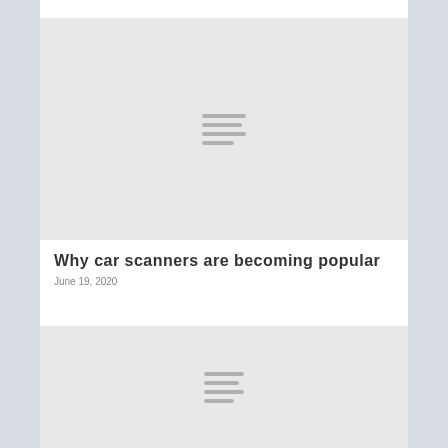[Figure (illustration): Gray placeholder image with a hamburger/menu icon in the center, representing an article thumbnail image]
Why car scanners are becoming popular
June 19, 2020
[Figure (illustration): Gray placeholder image with a hamburger/menu icon in the center, representing a second article thumbnail image]